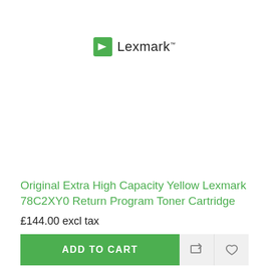[Figure (logo): Lexmark logo: green square icon with white arrow pointing right, followed by 'Lexmark' text in dark gray]
Original Extra High Capacity Yellow Lexmark 78C2XY0 Return Program Toner Cartridge
£144.00 excl tax
ADD TO CART